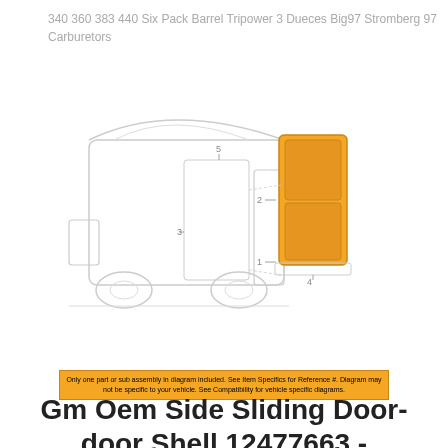340 360 383 440 Six Pack Barrel Tripower 3 Dueces Big97 Stromberg 97 Carburetors
[Figure (engineering-diagram): Technical diagram of a van/minivan side sliding door assembly. A light outline drawing of the vehicle is shown on the left with an exploded view of the door shell (highlighted in orange) on the right. Numbered callouts: 1, 2, 3, 4, 5 indicate parts of the assembly.]
Only one part or sub assembly in diagram included. See Item Specifics for Reference #. Diagram may not be specific to your vehicle. See Compatibility for vehicle specific diagrams.
Gm Oem Side Sliding Door-door Shell 12477663 - $1763.90